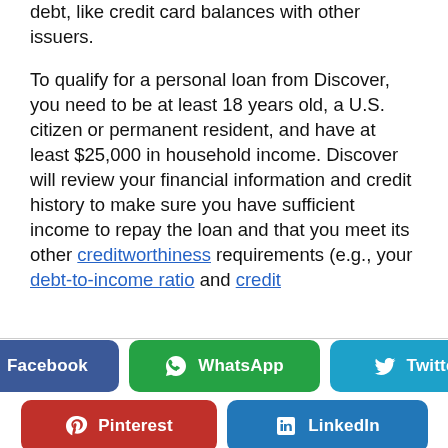debt, like credit card balances with other issuers.
To qualify for a personal loan from Discover, you need to be at least 18 years old, a U.S. citizen or permanent resident, and have at least $25,000 in household income. Discover will review your financial information and credit history to make sure you have sufficient income to repay the loan and that you meet its other creditworthiness requirements (e.g., your debt-to-income ratio and credit
[Figure (infographic): Social sharing buttons: Facebook (blue), WhatsApp (green), Twitter (light blue), Pinterest (red), LinkedIn (blue)]